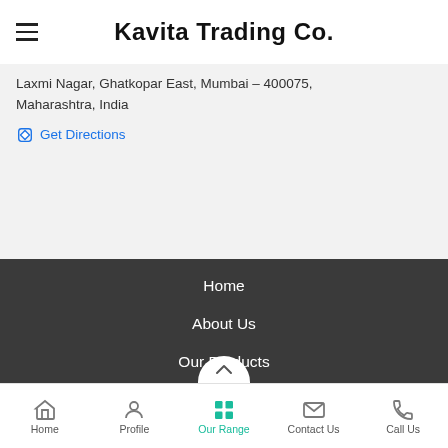Kavita Trading Co.
Laxmi Nagar, Ghatkopar East, Mumbai - 400075, Maharashtra, India
Get Directions
Home
About Us
Our Products
Contact Us
Share via
Home  Profile  Our Range  Contact Us  Call Us